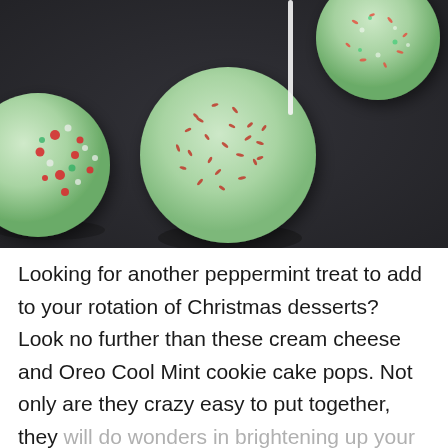[Figure (photo): Close-up photograph of Christmas cake pops on a dark surface. The cake pops are round, coated in mint green chocolate with red and white sprinkles. One large cake pop is centered, with others visible at edges. A white stick protrudes from one pop in the background.]
Looking for another peppermint treat to add to your rotation of Christmas desserts? Look no further than these cream cheese and Oreo Cool Mint cookie cake pops. Not only are they crazy easy to put together, they will do wonders in brightening up your dessert table. You'll...